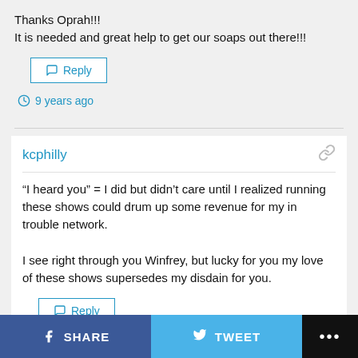Thanks Oprah!!!
It is needed and great help to get our soaps out there!!!
Reply
9 years ago
kcphilly
“I heard you” = I did but didn’t care until I realized running these shows could drum up some revenue for my in trouble network.

I see right through you Winfrey, but lucky for you my love of these shows supersedes my disdain for you.
Reply
9 years ago
SHARE   TWEET   ...